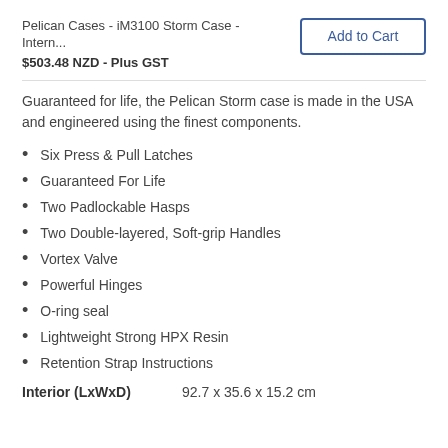Pelican Cases - iM3100 Storm Case - Intern…
$503.48 NZD - Plus GST
Add to Cart
Guaranteed for life, the Pelican Storm case is made in the USA and engineered using the finest components.
Six Press & Pull Latches
Guaranteed For Life
Two Padlockable Hasps
Two Double-layered, Soft-grip Handles
Vortex Valve
Powerful Hinges
O-ring seal
Lightweight Strong HPX Resin
Retention Strap Instructions
Interior (LxWxD)    92.7 x 35.6 x 15.2 cm